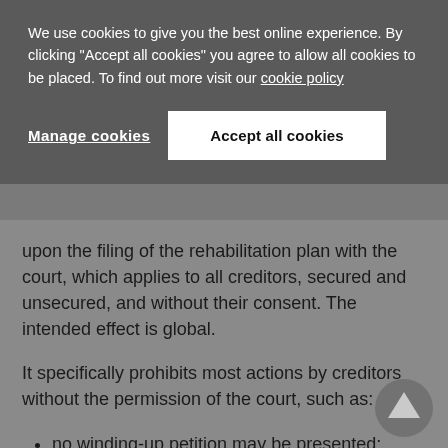We use cookies to give you the best online experience. By clicking "Accept all cookies" you agree to allow all cookies to be placed. To find out more visit our cookie policy
Manage cookies
Accept all cookies
upon the filing of the rehabilitation plan with the court, which applies to all creditors, secured and unsecured, and without their consent. The intended effect is global.
It specifically prohibits most actions by creditors without the permission of the court, such as:
no winding-up petition may be presented;
no landlord to whom rent is payable may